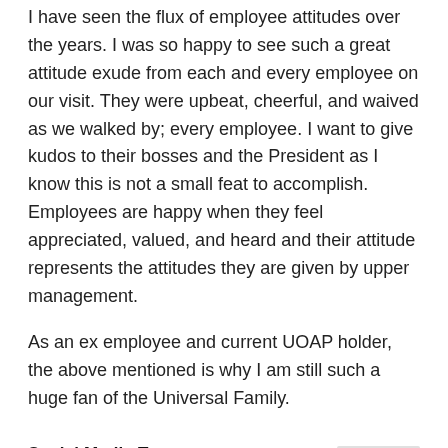I have seen the flux of employee attitudes over the years. I was so happy to see such a great attitude exude from each and every employee on our visit. They were upbeat, cheerful, and waived as we walked by; every employee. I want to give kudos to their bosses and the President as I know this is not a small feat to accomplish. Employees are happy when they feel appreciated, valued, and heard and their attitude represents the attitudes they are given by upper management.
As an ex employee and current UOAP holder, the above mentioned is why I am still such a huge fan of the Universal Family.
Social Media Team
June 25, 2020 at 4:18 pm
Hi Amanda! Guests staying onsite at one of our Hotels is guaranteed entry as long as they have park tickets. Please